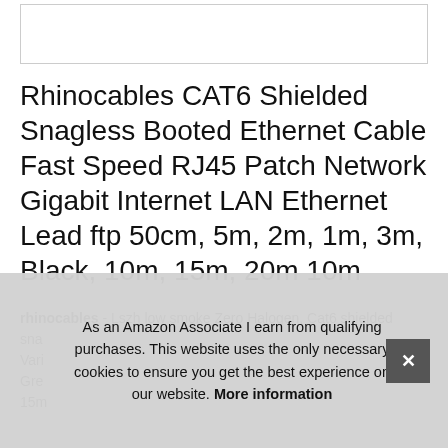[Figure (other): Empty white box with border at top of page]
Rhinocables CAT6 Shielded Snagless Booted Ethernet Cable Fast Speed RJ45 Patch Network Gigabit Internet LAN Ethernet Lead ftp 50cm, 5m, 2m, 1m, 3m, Black, 10m, 15m, 20m 10m
rhinocables - Lszh low smoke Zero Halogen, Cat6 shielded sna... Vari... Gre... 15m...
As an Amazon Associate I earn from qualifying purchases. This website uses the only necessary cookies to ensure you get the best experience on our website. More information